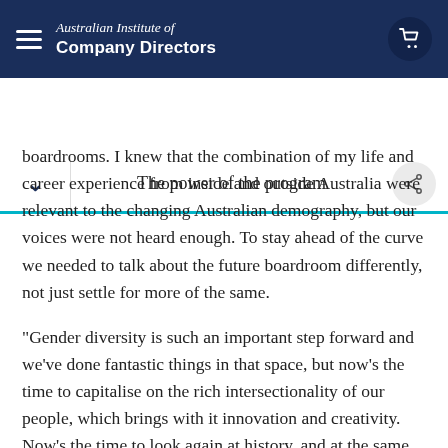Australian Institute of Company Directors
The power of the program
boardrooms. I knew that the combination of my life and career experience from inside and outside Australia were relevant to the changing Australian demography, but our voices were not heard enough. To stay ahead of the curve we needed to talk about the future boardroom differently, not just settle for more of the same.
“Gender diversity is such an important step forward and we’ve done fantastic things in that space, but now’s the time to capitalise on the rich intersectionality of our people, which brings with it innovation and creativity. Now’s the time to look again at history, and at the same time, keep checking the pulse on where our demography is moving.